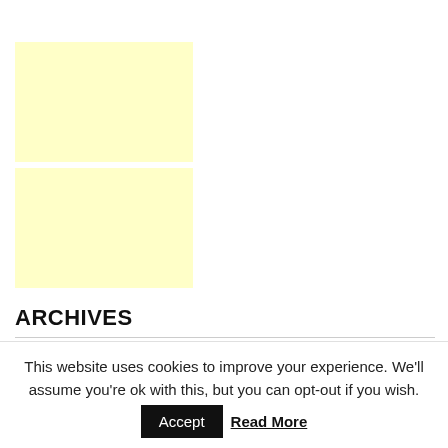[Figure (other): Yellow advertisement placeholder block, top]
[Figure (other): Yellow advertisement placeholder block, bottom]
ARCHIVES
This website uses cookies to improve your experience. We'll assume you're ok with this, but you can opt-out if you wish. Accept Read More